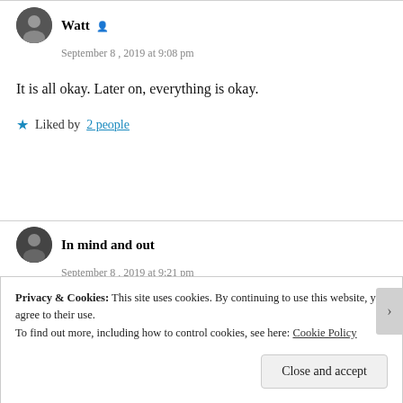Watt
September 8, 2019 at 9:08 pm
It is all okay. Later on, everything is okay.
Liked by 2 people
In mind and out
September 8, 2019 at 9:21 pm
You know, that song “it’s a mad world” comes to mind…
Privacy & Cookies: This site uses cookies. By continuing to use this website, you agree to their use. To find out more, including how to control cookies, see here: Cookie Policy
Close and accept